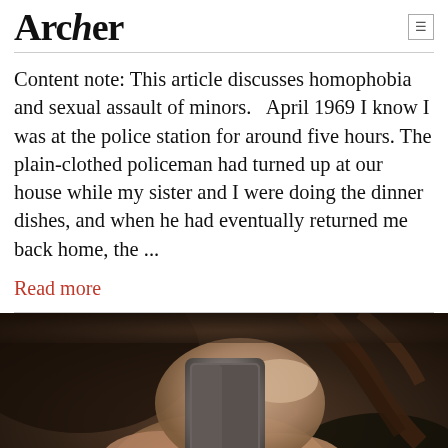Archer
Content note: This article discusses homophobia and sexual assault of minors.   April 1969 I know I was at the police station for around five hours. The plain-clothed policeman had turned up at our house while my sister and I were doing the dinner dishes, and when he had eventually returned me back home, the ...
Read more
[Figure (photo): Close-up of hands holding a smartphone, rings on fingers, dark warm-toned background]